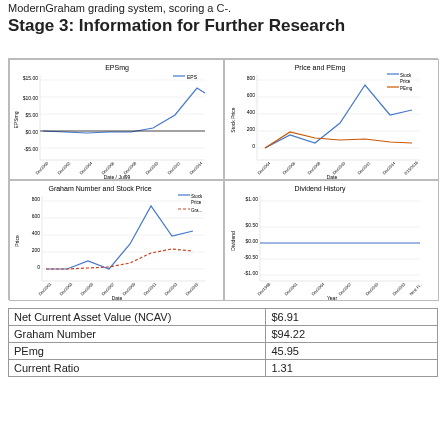ModernGraham grading system, scoring a C-.
Stage 3: Information for Further Research
[Figure (line-chart): Line chart showing EPSmg over time from Dec2000 to 2/15/2016, rising steeply to around $10-12 range in recent years]
[Figure (line-chart): Line chart showing Stock Price (blue) and PEmg (orange) over time, stock price peaks around 700]
[Figure (line-chart): Line chart showing Stock Price (blue solid) and Graham Number (red/orange) over time]
[Figure (line-chart): Line chart showing dividend history, flat at $0.00]
| Net Current Asset Value (NCAV) | $6.91 |
| Graham Number | $94.22 |
| PEmg | 45.95 |
| Current Ratio | 1.31 |